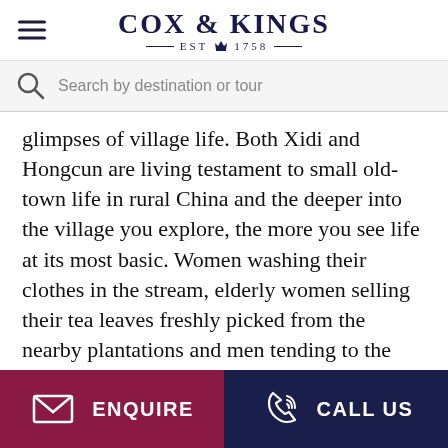COX & KINGS — EST 1758 —
Search by destination or tour
glimpses of village life. Both Xidi and Hongcun are living testament to small old-town life in rural China and the deeper into the village you explore, the more you see life at its most basic. Women washing their clothes in the stream, elderly women selling their tea leaves freshly picked from the nearby plantations and men tending to the mulberry gardens.Take a peek into one of the many houses and you will come across lovely gardens full of bonsai and flowers, you will also see little streams
ENQUIRE   CALL US